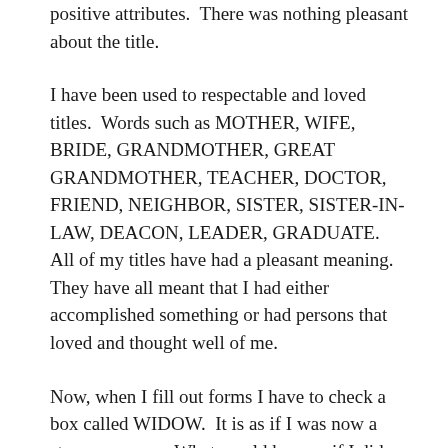positive attributes.  There was nothing pleasant about the title.
I have been used to respectable and loved titles.  Words such as MOTHER, WIFE, BRIDE, GRANDMOTHER, GREAT GRANDMOTHER, TEACHER, DOCTOR, FRIEND, NEIGHBOR, SISTER, SISTER-IN-LAW, DEACON, LEADER, GRADUATE.  All of my titles have had a pleasant meaning.  They have all meant that I had either accomplished something or had persons that loved and thought well of me.
Now, when I fill out forms I have to check a box called WIDOW.  It is as if I was now a strange person.  What would happen if I did not check it?  What if I were to